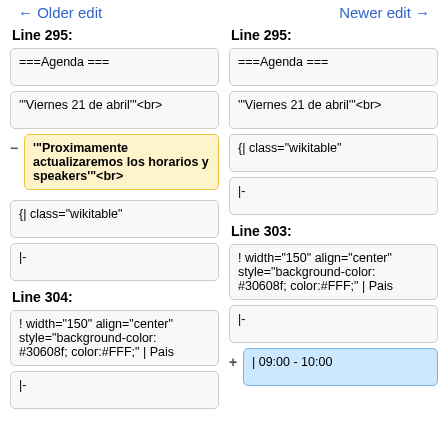← Older edit    Newer edit →
Line 295:
Line 295:
===Agenda ===
===Agenda ===
"'Viernes 21 de abril"'<br>
"'Viernes 21 de abril"'<br>
"""Proximamente actualizaremos los horarios y speakers"""<br>
{| class="wikitable"
{| class="wikitable"
|-
|-
Line 304:
Line 303:
! width="150" align="center" style="background-color: #30608f; color:#FFF;" | Pais
! width="150" align="center" style="background-color: #30608f; color:#FFF;" | Pais
|-
|-
| 09:00 - 10:00